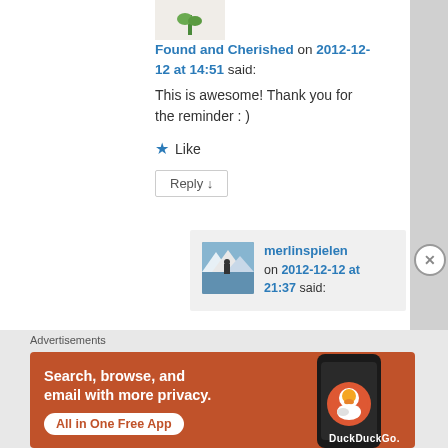[Figure (photo): Small avatar image of a plant/flower on beige background at top of comment]
Found and Cherished on 2012-12-12 at 14:51 said:
This is awesome! Thank you for the reminder : )
★ Like
Reply ↓
[Figure (photo): Nested reply avatar: mountain lake scene with a person]
merlinspielen on 2012-12-12 at 21:37 said:
Advertisements
[Figure (screenshot): DuckDuckGo advertisement banner: Search, browse, and email with more privacy. All in One Free App. Shows DuckDuckGo logo on phone.]